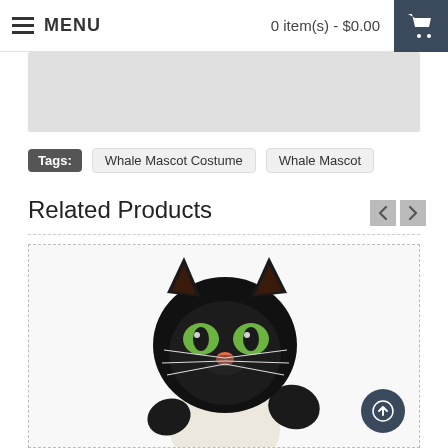MENU   0 item(s) - $0.00
[Figure (screenshot): Gray placeholder image area (partial product image from above scroll position)]
Tags: Whale Mascot Costume  Whale Mascot
Related Products
[Figure (photo): Black cat mascot costume with large round black cat head, green eyes, pink nose, white whiskers, wearing a white t-shirt, with black paws/gloves, photographed against white background]